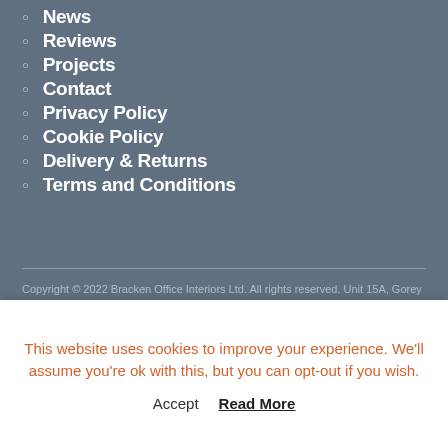News
Reviews
Projects
Contact
Privacy Policy
Cookie Policy
Delivery & Returns
Terms and Conditions
Copyright © 2022 Bracken Office Interiors Ltd. All rights reserved. Unit 15A, Gorey Business Park, Ramstown, Gorey
This website uses cookies to improve your experience. We'll assume you're ok with this, but you can opt-out if you wish.
Accept  Read More